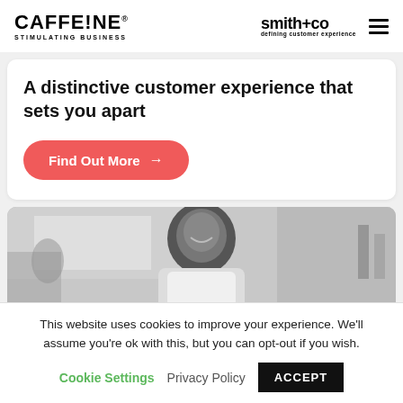[Figure (logo): CAFFEINE STIMULATING BUSINESS logo on the left, smith+co defining customer experience logo in center, hamburger menu icon on right]
A distinctive customer experience that sets you apart
Find Out More →
[Figure (photo): Black and white photo of a smiling person in a white t-shirt, in an office/cafe setting]
This website uses cookies to improve your experience. We'll assume you're ok with this, but you can opt-out if you wish.
Cookie Settings   Privacy Policy   ACCEPT